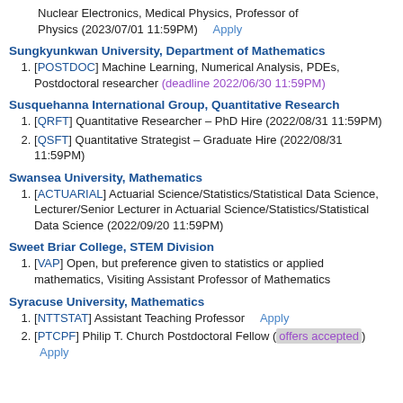Nuclear Electronics, Medical Physics, Professor of Physics (2023/07/01 11:59PM)   Apply
Sungkyunkwan University, Department of Mathematics
[POSTDOC] Machine Learning, Numerical Analysis, PDEs, Postdoctoral researcher (deadline 2022/06/30 11:59PM)
Susquehanna International Group, Quantitative Research
[QRFT] Quantitative Researcher – PhD Hire (2022/08/31 11:59PM)
[QSFT] Quantitative Strategist – Graduate Hire (2022/08/31 11:59PM)
Swansea University, Mathematics
[ACTUARIAL] Actuarial Science/Statistics/Statistical Data Science, Lecturer/Senior Lecturer in Actuarial Science/Statistics/Statistical Data Science (2022/09/20 11:59PM)
Sweet Briar College, STEM Division
[VAP] Open, but preference given to statistics or applied mathematics, Visiting Assistant Professor of Mathematics
Syracuse University, Mathematics
[NTTSTAT] Assistant Teaching Professor   Apply
[PTCPF] Philip T. Church Postdoctoral Fellow (offers accepted) Apply